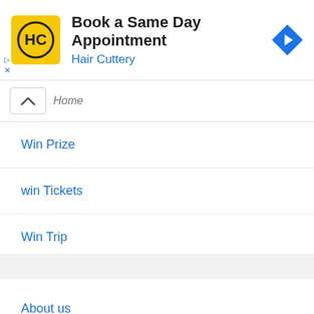[Figure (screenshot): Ad banner for Hair Cuttery with yellow HC logo, text 'Book a Same Day Appointment' and 'Hair Cuttery', blue diamond navigation icon on right]
Home (with collapse chevron)
Win Prize
win Tickets
Win Trip
Pages
About us